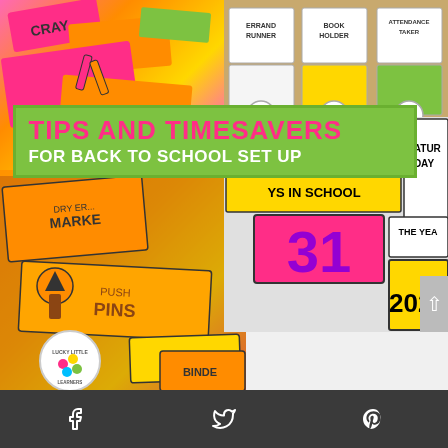[Figure (photo): Collage image for educational blog post about back to school tips. Top left: colorful school supply labels in pink, orange, yellow on wood background. Top right: bulletin board with job labels (Errand Runner, Book Holder, Attendance Taker) and numbers 8, 9, 10. Center: large green banner overlay reading 'TIPS AND TIMESAVERS FOR BACK TO SCHOOL SET UP'. Bottom left: more supply labels showing DRY ERASE MARKER, PUSH PINS, SCISSORS, BINDER CLIPS in orange/yellow. Bottom right: calendar pocket chart cards showing FRIDAY, YESTERDAY was THURSDAY, TOMORROW SATURDAY, DAYS IN SCHOOL 31, THE YEAR 2022. Lucky Little Learners logo circle in bottom left. Scroll arrow on right edge.]
[Figure (infographic): Social media share bar at bottom with Facebook, Twitter/X, and Pinterest icons in white on dark gray background]